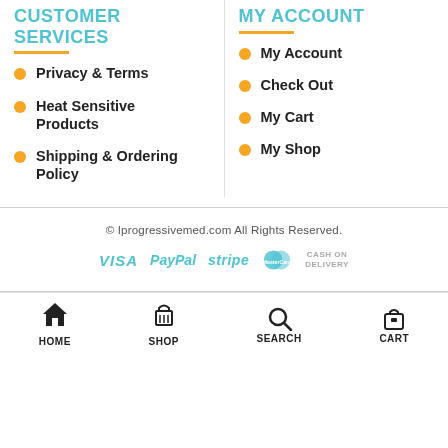CUSTOMER SERVICES
My Account
Privacy & Terms
My Account
Heat Sensitive Products
Check Out
Shipping & Ordering Policy
My Cart
My Shop
© Iprogressivemed.com All Rights Reserved.
[Figure (logo): Payment method logos: VISA, PayPal, stripe, MasterCard, CASH ON DELIVERY]
HOME  Shop  SEARCH  CART